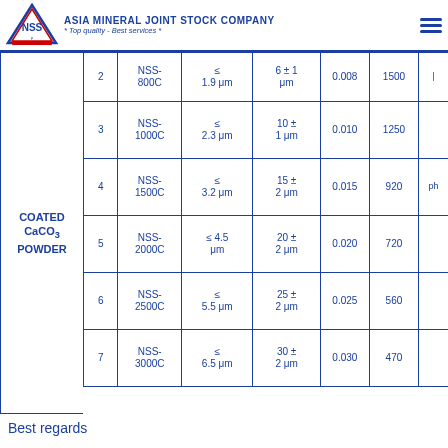ASIA MINERAL JOINT STOCK COMPANY * Top quality - Best services *
| No | Product Name | D50 | D97 | Coating Coeff. | Mesh |  |
| --- | --- | --- | --- | --- | --- | --- |
| 2 | NSS-800C | ≤ 1.9 μm | 6 ± 1 μm | 0.008 | 1500 |  |
| 3 | NSS-1000C | ≤ 2.3 μm | 10 ± 1 μm | 0.010 | 1250 |  |
| 4 | NSS-1500C | ≤ 3.2 μm | 15 ± 2 μm | 0.015 | 920 |  |
| 5 | NSS-2000C | ≤ 4.5 μm | 20 ± 2 μm | 0.020 | 720 |  |
| 6 | NSS-2500C | ≤ 5.5 μm | 25 ± 2 μm | 0.025 | 560 |  |
| 7 | NSS-3000C | ≤ 6.5 μm | 30 ± 2 μm | 0.030 | 470 |  |
Best regards